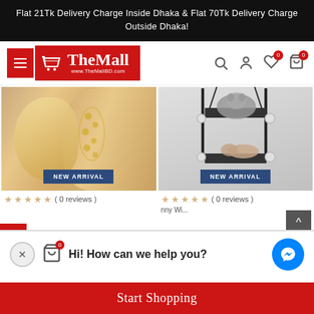Flat 21Tk Delivery Charge Inside Dhaka & Flat 70Tk Delivery Charge Outside Dhaka!
[Figure (logo): TheMall logo on red background with shopping cart icon and www.TheMallBD.com text]
[Figure (photo): Close-up of a woman's ear wearing a gold star crystal ear cuff climber earring with NEW ARRIVAL badge]
[Figure (photo): Cat window hammock with black metal frame and suction cups, two cats resting on it, with NEW ARRIVAL badge]
( 0 reviews )
( 0 reviews )
Hi! How can we help you?
Start Shopping